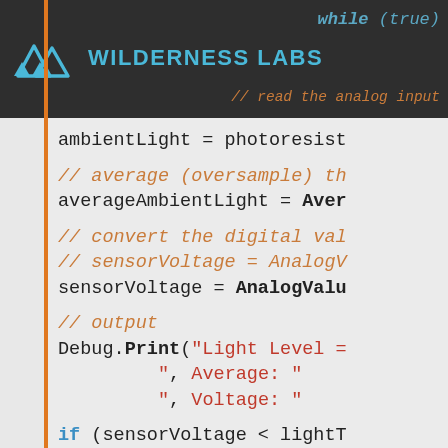[Figure (screenshot): Wilderness Labs logo with mountain/tree icon and blue text on dark background header]
while (true)
// read the analog input
ambientLight = photoresist
// average (oversample) th
averageAmbientLight = Aver
// convert the digital val
// sensorVoltage = AnalogV
sensorVoltage = AnalogValu
// output
Debug.Print("Light Level =
", Average: "
", Voltage: "
if (sensorVoltage < lightT
  Debug.Print("Very brig
} else if (sensorVoltage >